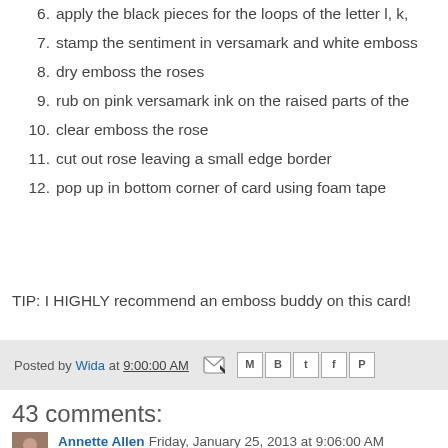6. apply the black pieces for the loops of the letter l, k,
7. stamp the sentiment in versamark and white emboss
8. dry emboss the roses
9. rub on pink versamark ink on the raised parts of the
10. clear emboss the rose
11. cut out rose leaving a small edge border
12. pop up in bottom corner of card using foam tape
TIP: I HIGHLY recommend an emboss buddy on this card!
Posted by Wida at 9:00:00 AM
43 comments:
Annette Allen  Friday, January 25, 2013 at 9:06:00 AM